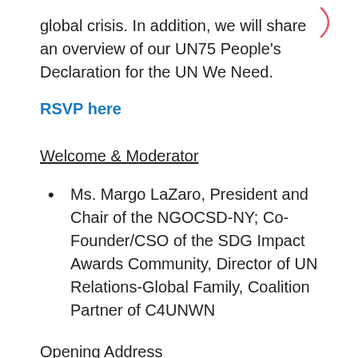global crisis. In addition, we will share an overview of our UN75 People's Declaration for the UN We Need.
RSVP here
Welcome & Moderator
Ms. Margo LaZaro, President and Chair of the NGOCSD-NY; Co-Founder/CSO of the SDG Impact Awards Community, Director of UN Relations-Global Family, Coalition Partner of C4UNWN
Opening Address
H.E. Dr. Michal Mlynar, Ambassador and